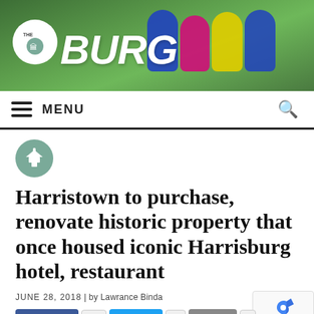[Figure (screenshot): The Burg news website header banner with children in colorful hooded jackets on a green grass background, with THE BURG logo overlaid]
≡ MENU
[Figure (illustration): Capitol building icon in a green circle, used as category icon]
Harristown to purchase, renovate historic property that once housed iconic Harrisburg hotel, restaurant
JUNE 28, 2018 | by Lawrance Binda
Share 392   Tweet 32   Email 6